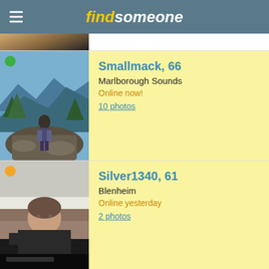find someone
[Figure (photo): Partial view of a profile photo at the top of the page (hair visible)]
[Figure (photo): Man standing on rocks by a lake with mountains in the background. Green online dot in top-left corner.]
Smallmack, 66
Marlborough Sounds
Online now!
10 photos
[Figure (photo): Man in dark clothing, photo appears rotated. Orange status dot in top-left corner.]
Silver1340, 61
Blenheim
Online yesterday
2 photos
[Figure (photo): Woman smiling with dark hair, university background visible. Orange status dot in top-left corner.]
Barbangel, 63
Blenheim
Online last week
4 photos